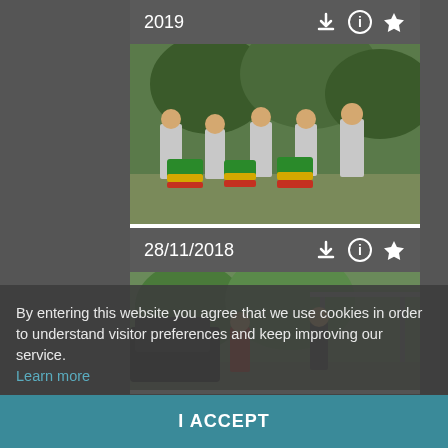2019
[Figure (photo): Group of young people playing colorful drums (green, yellow, red) outdoors under trees, wearing matching grey shirts]
28/11/2018
[Figure (photo): Two people standing outdoors near trees and a metal structure; one in red shirt]
28/11/2018
By entering this website you agree that we use cookies in order to understand visitor preferences and keep improving our service. Learn more
I ACCEPT